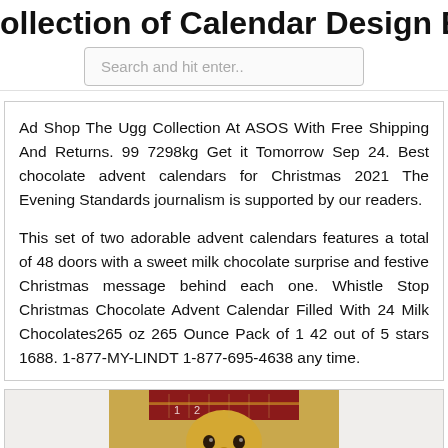ollection of Calendar Design Exampl
Search and hit enter..
Ad Shop The Ugg Collection At ASOS With Free Shipping And Returns. 99 7298kg Get it Tomorrow Sep 24. Best chocolate advent calendars for Christmas 2021 The Evening Standards journalism is supported by our readers.
This set of two adorable advent calendars features a total of 48 doors with a sweet milk chocolate surprise and festive Christmas message behind each one. Whistle Stop Christmas Chocolate Advent Calendar Filled With 24 Milk Chocolates265 oz 265 Ounce Pack of 1 42 out of 5 stars 1688. 1-877-MY-LINDT 1-877-695-4638 any time.
[Figure (photo): Partial view of a chocolate advent calendar box with red and gold design showing a character's face]